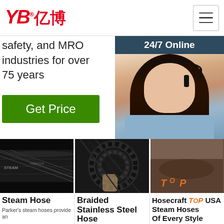[Figure (logo): YB亿博 logo in red italic text with registered trademark symbol]
[Figure (other): Hamburger menu button (three horizontal lines) in a bordered square]
safety, and MRO industries for over 75 years
[Figure (other): Green 'Get Price' button]
[Figure (other): 24/7 Online customer service widget with agent photo, 'Click here for free chat!' text, and orange QUOTATION button]
[Figure (photo): Close-up photo of a black steam hose with braided texture]
[Figure (photo): Close-up photo of braided stainless steel hose/cables coiled]
[Figure (photo): Partial photo of a hosecraft product with TOP badge overlay]
Steam Hose
Parker's steam hoses provide an
Braided Stainless Steel Hose
Hosecraft USA Steam Hoses Of Every Style